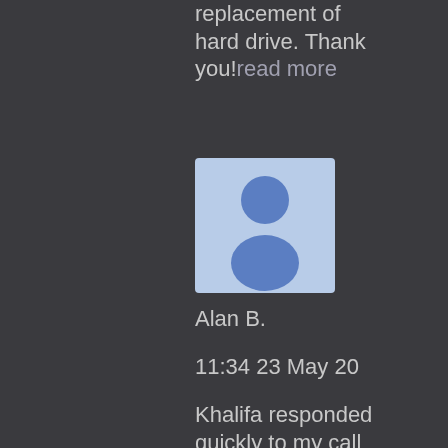replacement of hard drive. Thank you!read more
[Figure (illustration): Generic user avatar placeholder — blue silhouette of a person on a light blue background]
Alan B.
11:34 23 May 20
Khalifa responded quickly to my call for help… with the computer malfunction I had and was able to diagnose the problem and have it fully repaired within 24h at reasonable cost.I was impressed with his extensive knowledge of